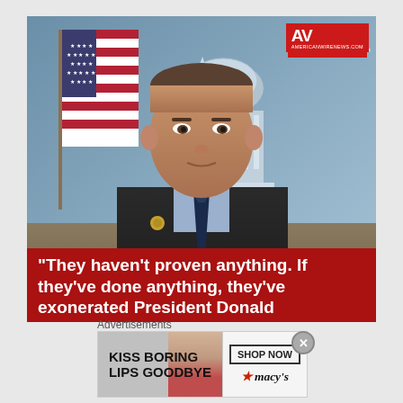[Figure (photo): Man in dark suit and tie seated at a desk with an American flag to his left and the U.S. Capitol building visible in the background. Red logo badge in upper right reads 'AV AMERICANWIRENEWS.COM'. Red bar at the bottom of the image contains a quote in white bold text.]
“They haven’t proven anything. If they’ve done anything, they’ve exonerated President Donald
Advertisements
[Figure (infographic): Advertisement banner for Macy's lip product. Left side shows 'KISS BORING LIPS GOODBYE' text with woman's face featuring red lips. Right side shows 'SHOP NOW' button and Macy's star logo.]